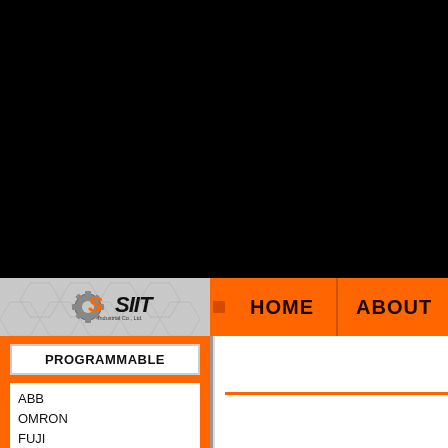[Figure (screenshot): Black background area representing a failed/loading plugin or video embed area]
Couldn't load plu
[Figure (logo): SIIT Industrial Co., Ltd. logo with gear icon, on hexagonal pattern background]
HOME
ABOUT
PROGRAMMABLE
ABB
OMRON
FUJI
MITSUBISHI
SIEMENS